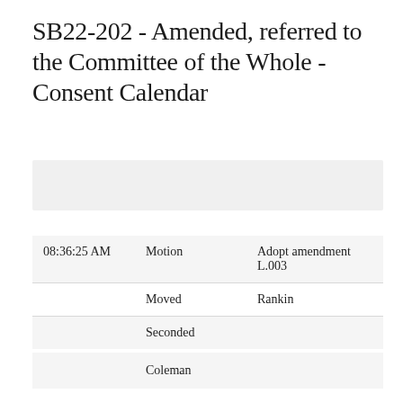SB22-202 - Amended, referred to the Committee of the Whole - Consent Calendar
| Time | Type | Detail |
| --- | --- | --- |
| 08:36:25 AM | Motion | Adopt amendment L.003 |
|  | Moved | Rankin |
|  | Seconded |  |
|  | Name |  |
| --- | --- | --- |
|  | Coleman |  |